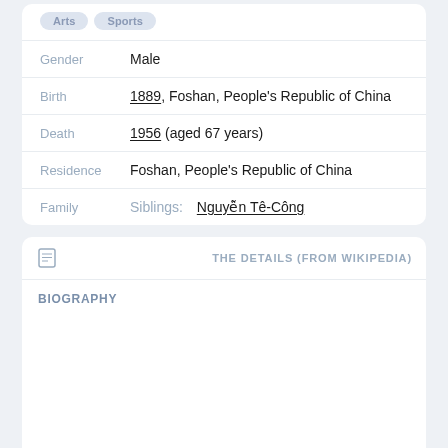| Field | Value |
| --- | --- |
| Gender | Male |
| Birth | 1889, Foshan, People's Republic of China |
| Death | 1956 (aged 67 years) |
| Residence | Foshan, People's Republic of China |
| Family | Siblings: Nguyễn Tê-Công |
THE DETAILS (FROM WIKIPEDIA)
BIOGRAPHY